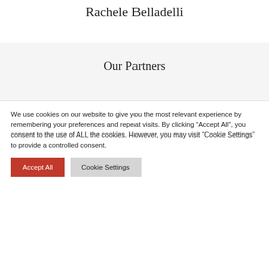Rachele Belladelli
Our Partners
We use cookies on our website to give you the most relevant experience by remembering your preferences and repeat visits. By clicking “Accept All”, you consent to the use of ALL the cookies. However, you may visit “Cookie Settings” to provide a controlled consent.
Accept All
Cookie Settings